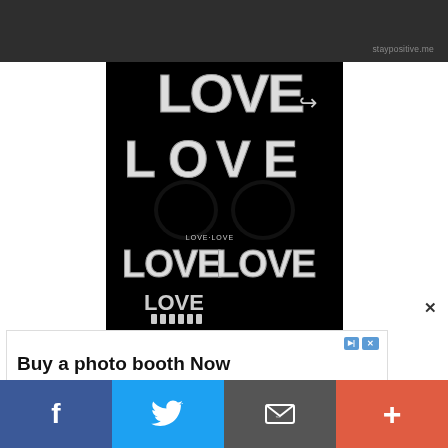[Figure (screenshot): Top dark gray navigation bar with 'staypositive.me' watermark in bottom right corner]
[Figure (illustration): Black background illustration of a skull made entirely of the word LOVE repeated in bold white stylized lettering, forming the skull shape including cranium, eye sockets, and jaw/teeth. A share (forward arrow) icon is in the top right of the image.]
Buy a photo booth Now
Buy now, pay later as we accept photo booth financing.
Boothify – Manufacturer
Visit Site
[Figure (screenshot): Bottom social sharing bar with four buttons: Facebook (dark blue), Twitter (light blue), Email/envelope (dark gray), and More/plus (coral red)]